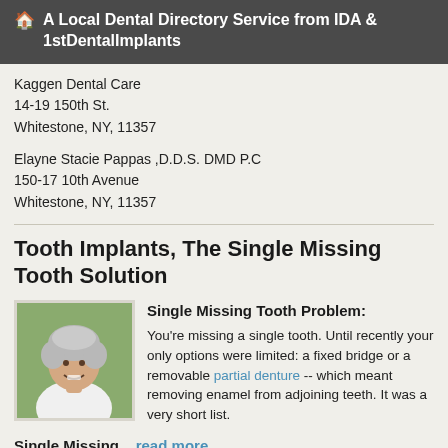🏠 A Local Dental Directory Service from IDA & 1stDentalImplants
Kaggen Dental Care
14-19 150th St.
Whitestone, NY, 11357
Elayne Stacie Pappas ,D.D.S. DMD P.C
150-17 10th Avenue
Whitestone, NY, 11357
Tooth Implants, The Single Missing Tooth Solution
[Figure (photo): Portrait photo of an older woman with short grey/white hair, smiling outdoors]
Single Missing Tooth Problem:
You're missing a single tooth. Until recently your only options were limited: a fixed bridge or a removable partial denture -- which meant removing enamel from adjoining teeth. It was a very short list.
Single Missing... read more